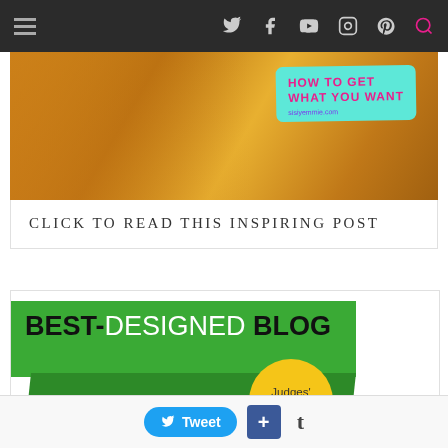[Figure (screenshot): Website navigation bar with hamburger menu icon and social media icons (Twitter, Facebook, YouTube, Instagram, Pinterest, Search) on dark background]
[Figure (photo): Photo of a person in yellow clothing holding up their hand with a teal sign overlay reading HOW TO GET WHAT YOU WANT with sisiyemmie.com]
CLICK TO READ THIS INSPIRING POST
[Figure (illustration): Best-Designed Blog award badge with green rectangle background, white text BEST-DESIGNED BLOG and a yellow circle with Judges' Choice text]